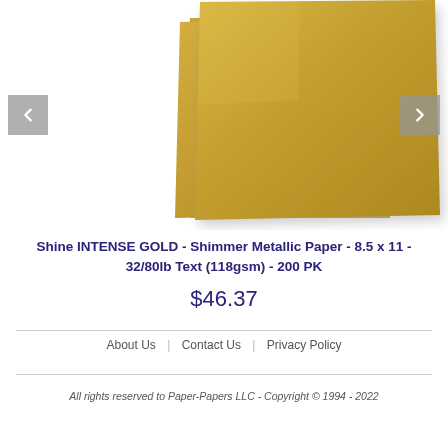[Figure (photo): Two sheets of gold metallic shimmer paper overlapping, shown at an angle on a white background. The paper has an intense gold color with a slight texture/sheen.]
Shine INTENSE GOLD - Shimmer Metallic Paper - 8.5 x 11 - 32/80lb Text (118gsm) - 200 PK
$46.37
About Us   Contact Us   Privacy Policy
All rights reserved to Paper-Papers LLC - Copyright © 1994 - 2022